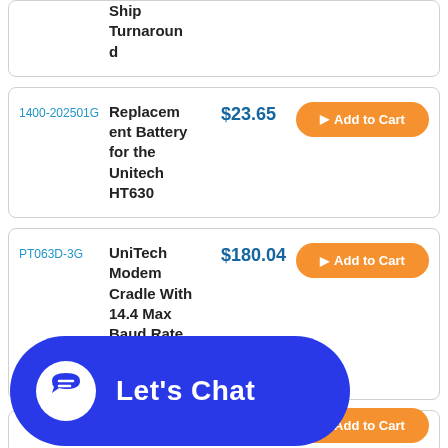| SKU | Product | Price | Action |
| --- | --- | --- | --- |
|  | Ship Turnaround |  |  |
| 1400-202501G | Replacement Battery for the Unitech HT630 | $23.65 | Add to Cart |
| PT063D-3G | UniTech Modem Cradle With 14.4 Max Baud Rate (No RS-232 Port For... | $180.04 | Add to Cart |
|  |  |  | Add to Cart |
[Figure (other): Blue rounded rectangle chat widget with speech bubble icon and 'Let's Chat' text in white]